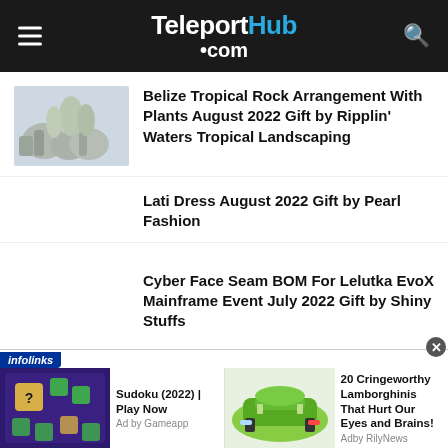TeleportHub.com
Belize Tropical Rock Arrangement With Plants August 2022 Gift by Ripplin' Waters Tropical Landscaping
Lati Dress August 2022 Gift by Pearl Fashion
Cyber Face Seam BOM For Lelutka EvoX Mainframe Event July 2022 Gift by Shiny Stuffs
[Figure (other): Advertisement banner with two ad units: Sudoku (2022) Play Now by Gameapp, and 20 Cringeworthy Lamborghinis That Hurt Our Eyes and Brains by RilyNews]